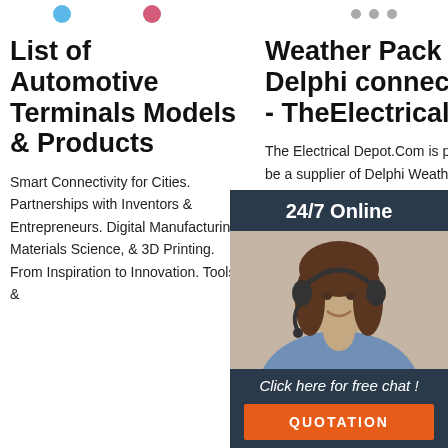[Figure (screenshot): Top decorative bar with colorful icons/dots on left and grey dots on right]
List of Automotive Terminals Models & Products
Smart Connectivity for Cities. Partnerships with Inventors & Entrepreneurs. Digital Manufacturing, Materials Science, & 3D Printing. From Inspiration to Innovation. Tools &
Weather Pack - Delphi connectors - TheElectricalDe
The Electrical Depot.Com is pleased to be a supplier of Delphi Weather Pack Products and Delphi GM. Delphi is a leader in automotive,pin connectors,wiring harnesses, Metri Pack,Crimp Tools,
Automotive Electrical Connectors - Ro
2012-1... Electrical Connectors doing w... wiring t... my car... particularly rewiring my 1975 Suburban, I have learned a lot about various w... connectors used in the automotive
[Figure (photo): 24/7 Online chat overlay with female agent wearing headset, and orange QUOTATION button]
[Figure (logo): Orange TOP badge with dotted arc design in bottom right corner]